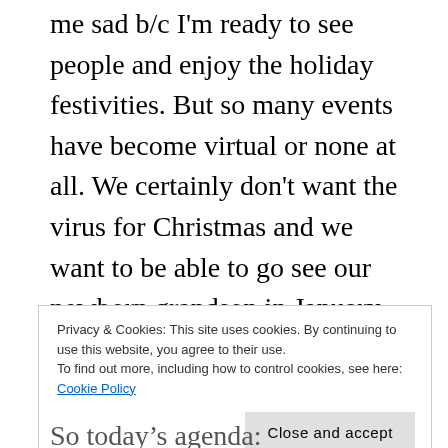me sad b/c I'm ready to see people and enjoy the holiday festivities. But so many events have become virtual or none at all. We certainly don't want the virus for Christmas and we want to be able to go see our newborn grandson in January or sooner if he comes early.
We've all slept good even though we had a overnight outing to “do pp business” with Roger and Maisy, we were able to sleep in this morning.
Privacy & Cookies: This site uses cookies. By continuing to use this website, you agree to their use.
To find out more, including how to control cookies, see here: Cookie Policy
Close and accept
So today's agenda: